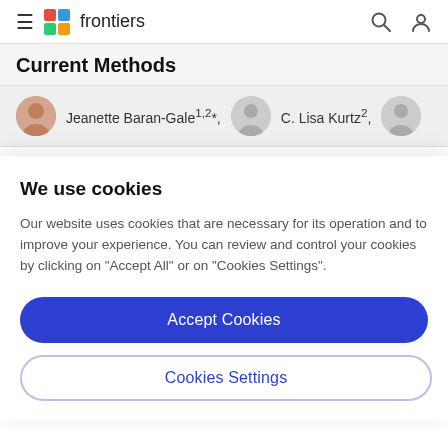frontiers
Current Methods
Jeanette Baran-Gale1,2*, C. Lisa Kurtz2,
We use cookies
Our website uses cookies that are necessary for its operation and to improve your experience. You can review and control your cookies by clicking on "Accept All" or on "Cookies Settings".
Accept Cookies
Cookies Settings